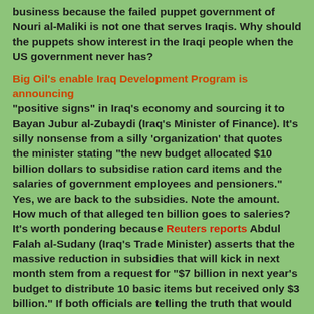business because the failed puppet government of Nouri al-Maliki is not one that serves Iraqis. Why should the puppets show interest in the Iraqi people when the US government never has?
Big Oil's enable Iraq Development Program is announcing "positive signs" in Iraq's economy and sourcing it to Bayan Jubur al-Zubaydi (Iraq's Minister of Finance). It's silly nonsense from a silly 'organization' that quotes the minister stating "the new budget allocated $10 billion dollars to subsidise ration card items and the salaries of government employees and pensioners." Yes, we are back to the subsidies. Note the amount. How much of that alleged ten billion goes to saleries? It's worth pondering because Reuters reports Abdul Falah al-Sudany (Iraq's Trade Minister) asserts that the massive reduction in subsidies that will kick in next month stem from a request for "$7 billion in next year's budget to distribute 10 basic items but received only $3 billion." If both officials are telling the truth that would mean seven billion dollars was required to pay the puppet government. That's a big payroll (especially when government workers make so little that IDP is trumpeting the fact that they've been granted